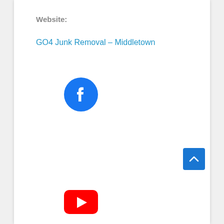Website:
GO4 Junk Removal – Middletown
[Figure (logo): Facebook circular logo icon in blue]
[Figure (logo): YouTube logo icon in red, partially visible at bottom]